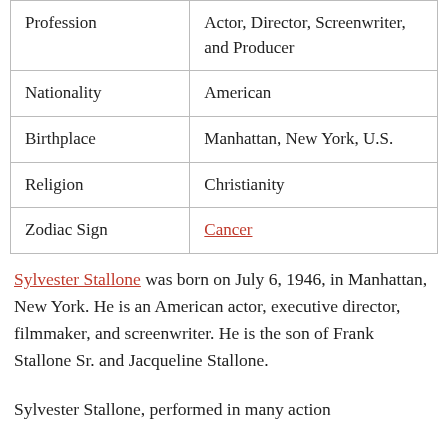| Profession | Actor, Director, Screenwriter, and Producer |
| Nationality | American |
| Birthplace | Manhattan, New York, U.S. |
| Religion | Christianity |
| Zodiac Sign | Cancer |
Sylvester Stallone was born on July 6, 1946, in Manhattan, New York. He is an American actor, executive director, filmmaker, and screenwriter. He is the son of Frank Stallone Sr. and Jacqueline Stallone.
Sylvester Stallone, performed in many action